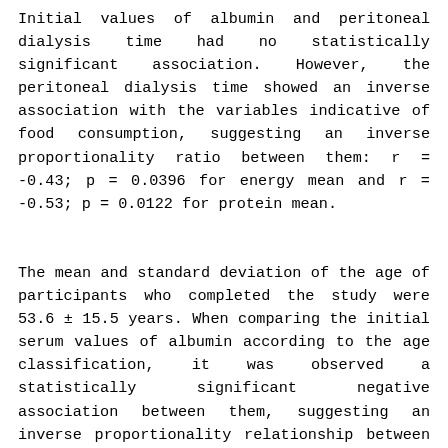Initial values of albumin and peritoneal dialysis time had no statistically significant association. However, the peritoneal dialysis time showed an inverse association with the variables indicative of food consumption, suggesting an inverse proportionality ratio between them: r = -0.43; p = 0.0396 for energy mean and r = -0.53; p = 0.0122 for protein mean.
The mean and standard deviation of the age of participants who completed the study were 53.6 ± 15.5 years. When comparing the initial serum values of albumin according to the age classification, it was observed a statistically significant negative association between them, suggesting an inverse proportionality relationship between these two variables: (r = -0.52; p = 0.015)